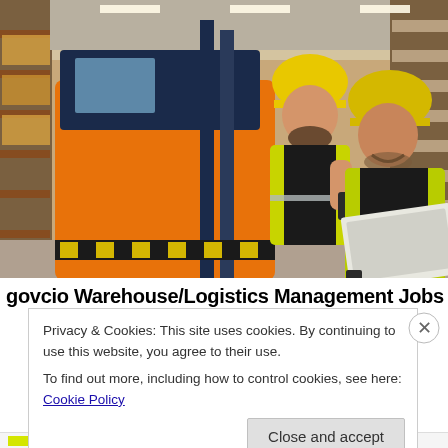[Figure (photo): Two warehouse workers in yellow hard hats and high-visibility vests standing near an orange forklift in a large warehouse with shelving. One worker holds a mobile device, the other holds an open laptop.]
govcio Warehouse/Logistics Management Jobs
Privacy & Cookies: This site uses cookies. By continuing to use this website, you agree to their use.
To find out more, including how to control cookies, see here: Cookie Policy